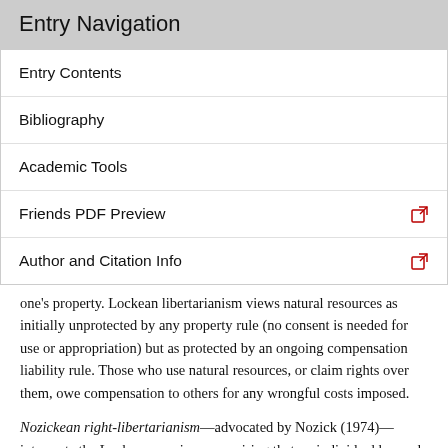Entry Navigation
Entry Contents
Bibliography
Academic Tools
Friends PDF Preview
Author and Citation Info
one's property. Lockean libertarianism views natural resources as initially unprotected by any property rule (no consent is needed for use or appropriation) but as protected by an ongoing compensation liability rule. Those who use natural resources, or claim rights over them, owe compensation to others for any wrongful costs imposed.
Nozickean right-libertarianism—advocated by Nozick (1974)—interprets the Lockean proviso as requiring that no individual be made worse off by the use or appropriation of a natural resource compared with non-